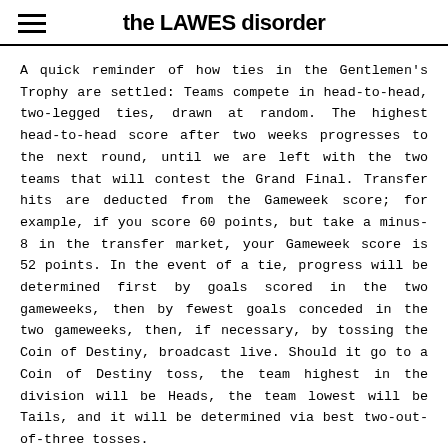the LAWES disorder
A quick reminder of how ties in the Gentlemen's Trophy are settled: Teams compete in head-to-head, two-legged ties, drawn at random. The highest head-to-head score after two weeks progresses to the next round, until we are left with the two teams that will contest the Grand Final. Transfer hits are deducted from the Gameweek score; for example, if you score 60 points, but take a minus-8 in the transfer market, your Gameweek score is 52 points. In the event of a tie, progress will be determined first by goals scored in the two gameweeks, then by fewest goals conceded in the two gameweeks, then, if necessary, by tossing the Coin of Destiny, broadcast live. Should it go to a Coin of Destiny toss, the team highest in the division will be Heads, the team lowest will be Tails, and it will be determined via best two-out-of-three tosses.
The Gentlemen's Trophy promises to bring new levels of excitement to the closing weeks of the season, especially